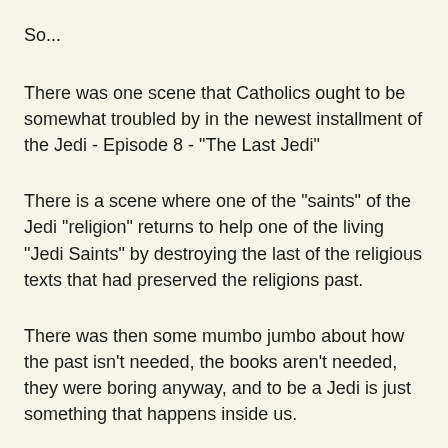So...
There was one scene that Catholics ought to be somewhat troubled by in the newest installment of the Jedi - Episode 8 - "The Last Jedi"
There is a scene where one of the "saints" of the Jedi "religion" returns to help one of the living "Jedi Saints" by destroying the last of the religious texts that had preserved the religions past.
There was then some mumbo jumbo about how the past isn't needed, the books aren't needed, they were boring anyway, and to be a Jedi is just something that happens inside us.